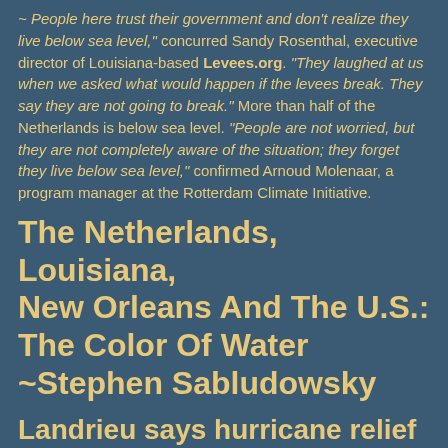~ People here trust their government and don't realize they live below sea level," concurred Sandy Rosenthal, executive director of Louisiana-based Levees.org. "They laughed at us when we asked what would happen if the levees break. They say they are not going to break." More than half of the Netherlands is below sea level. "People are not worried, but they are not completely aware of the situation; they forget they live below sea level," confirmed Arnoud Molenaar, a program manager at the Rotterdam Climate Initiative.
The Netherlands, Louisiana, New Orleans And The U.S.: The Color Of Water ~Stephen Sabludowsky
Landrieu says hurricane relief arbitration panel coming within